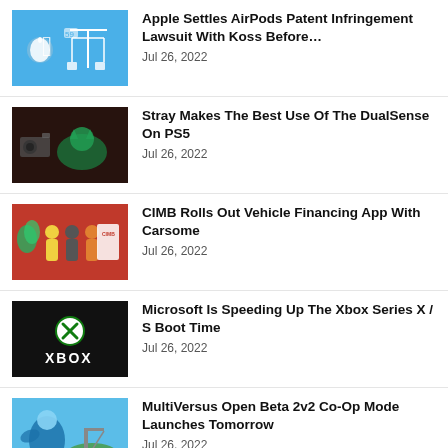Apple Settles AirPods Patent Infringement Lawsuit With Koss Before… Jul 26, 2022
Stray Makes The Best Use Of The DualSense On PS5 Jul 26, 2022
CIMB Rolls Out Vehicle Financing App With Carsome Jul 26, 2022
Microsoft Is Speeding Up The Xbox Series X / S Boot Time Jul 26, 2022
MultiVersus Open Beta 2v2 Co-Op Mode Launches Tomorrow Jul 26, 2022
Facebook Music Revenue Sharing For…